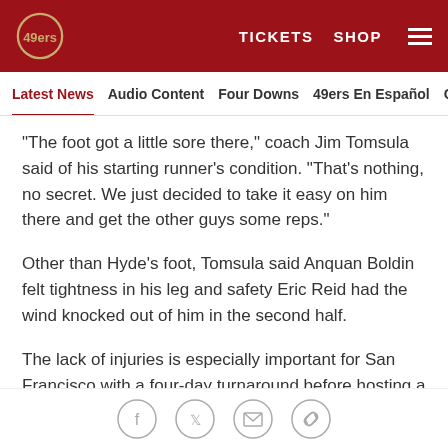San Francisco 49ers — TICKETS  SHOP
Latest News  Audio Content  Four Downs  49ers En Español  Ga
"The foot got a little sore there," coach Jim Tomsula said of his starting runner's condition. "That's nothing, no secret. We just decided to take it easy on him there and get the other guys some reps."
Other than Hyde's foot, Tomsula said Anquan Boldin felt tightness in his leg and safety Eric Reid had the wind knocked out of him in the second half.
The lack of injuries is especially important for San Francisco with a four-day turnaround before hosting a "Thursday Night Football" game against the Seattle Seahawks